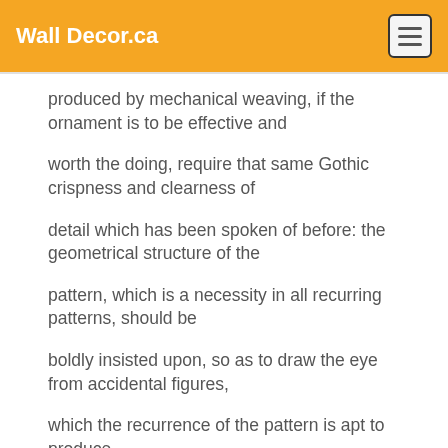Wall Decor.ca
produced by mechanical weaving, if the ornament is to be effective and
worth the doing, require that same Gothic crispness and clearness of
detail which has been spoken of before: the geometrical structure of the
pattern, which is a necessity in all recurring patterns, should be
boldly insisted upon, so as to draw the eye from accidental figures,
which the recurrence of the pattern is apt to produce.